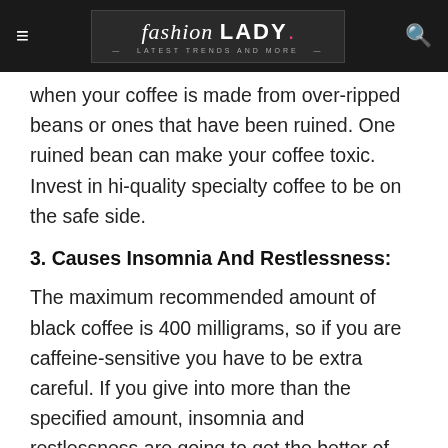fashion LADY . — Latest Trends and More —
when your coffee is made from over-ripped beans or ones that have been ruined. One ruined bean can make your coffee toxic. Invest in hi-quality specialty coffee to be on the safe side.
3. Causes Insomnia And Restlessness:
The maximum recommended amount of black coffee is 400 milligrams, so if you are caffeine-sensitive you have to be extra careful. If you give into more than the specified amount, insomnia and restlessness are going to get the better of you.
4. Black Coffee During Pregnancy Can Be Harmful:
Pregnant ladies should not consume more than one cup of